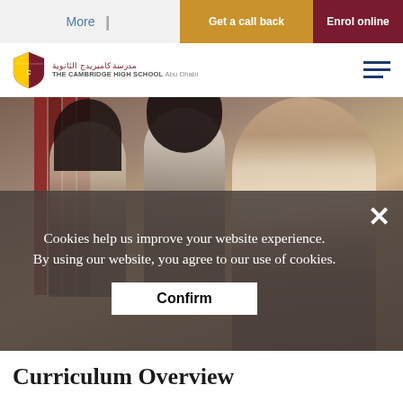More | Get a call back | Enrol online
[Figure (logo): The Cambridge High School Abu Dhabi shield logo with Arabic and English school name text]
[Figure (photo): Three female students in school uniforms (white shirts with maroon ties/accents) standing near red lockers in a school corridor. One student is smiling at the camera in the foreground.]
Cookies help us improve your website experience. By using our website, you agree to our use of cookies.
Confirm
Curriculum Overview